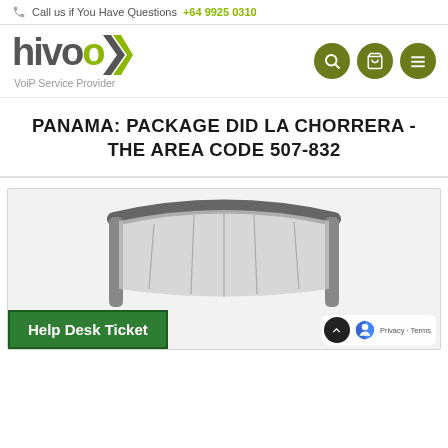Call us if You Have Questions +64 9925 0310
[Figure (logo): hivoox VoiP Service Provider logo with green x and navigation icons (search, cart, menu)]
PANAMA: PACKAGE DID LA CHORRERA - THE AREA CODE 507-832
[Figure (photo): Product image area showing partial office chair in gray on light gray background]
Help Desk Ticket